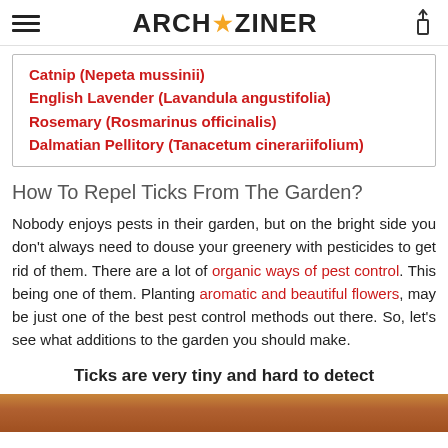ARCH★ZINER
Catnip (Nepeta mussinii)
English Lavender (Lavandula angustifolia)
Rosemary (Rosmarinus officinalis)
Dalmatian Pellitory (Tanacetum cinerariifolium)
How To Repel Ticks From The Garden?
Nobody enjoys pests in their garden, but on the bright side you don't always need to douse your greenery with pesticides to get rid of them. There are a lot of organic ways of pest control. This being one of them. Planting aromatic and beautiful flowers, may be just one of the best pest control methods out there. So, let's see what additions to the garden you should make.
Ticks are very tiny and hard to detect
[Figure (photo): Close-up photo of a tick on skin or surface, brownish-red tones]